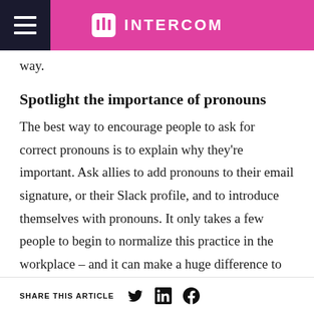INTERCOM
way.
Spotlight the importance of pronouns
The best way to encourage people to ask for correct pronouns is to explain why they're important. Ask allies to add pronouns to their email signature, or their Slack profile, and to introduce themselves with pronouns. It only takes a few people to begin to normalize this practice in the workplace – and it can make a huge difference to the LGBTQI+ people in the
SHARE THIS ARTICLE